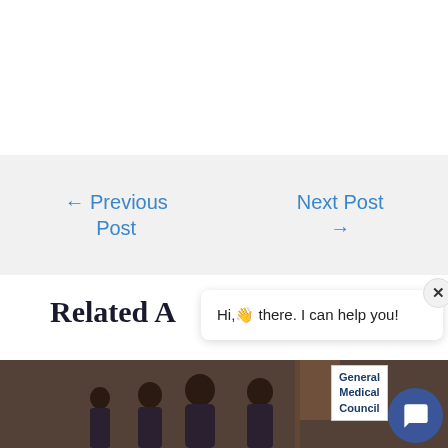[Figure (other): White content area at top of page (blog post content area)]
← Previous Post
Next Post →
Related A
[Figure (photo): Group of people in a hallway with a General Medical Council sign visible]
Hi,👋 there. I can help you!